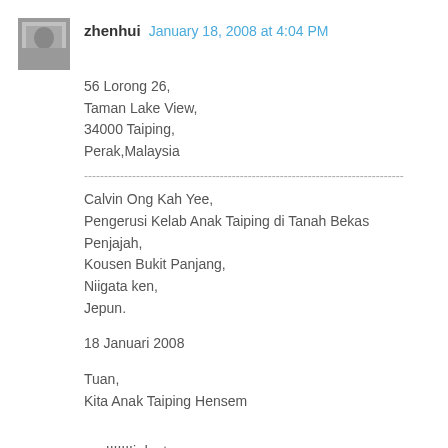[Figure (photo): Small grayscale avatar/profile photo of user zhenhui]
zhenhui  January 18, 2008 at 4:04 PM
56 Lorong 26,
Taman Lake View,
34000 Taiping,
Perak,Malaysia
--------------------------------------------------------------------------------
Calvin Ong Kah Yee,
Pengerusi Kelab Anak Taiping di Tanah Bekas Penjajah,
Kousen Bukit Panjang,
Niigata ken,
Jepun.

18 Januari 2008

Tuan,
Kita Anak Taiping Hensem


yes!!!!!!!i dont care..
i'm self proclaiming this!!!